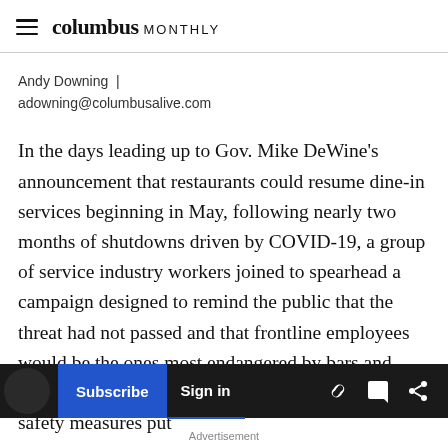columbus MONTHLY
Andy Downing  |  adowning@columbusalive.com
In the days leading up to Gov. Mike DeWine's announcement that restaurants could resume dine-in services beginning in May, following nearly two months of shutdowns driven by COVID-19, a group of service industry workers joined to spearhead a campaign designed to remind the public that the threat had not passed and that frontline employees would be the ones most endangered by bars and restaurants opening too soon and without proper safety measures put
Subscribe  Sign in  Advertisement